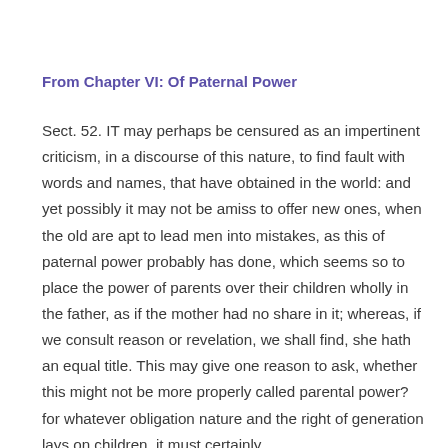From Chapter VI: Of Paternal Power
Sect. 52. IT may perhaps be censured as an impertinent criticism, in a discourse of this nature, to find fault with words and names, that have obtained in the world: and yet possibly it may not be amiss to offer new ones, when the old are apt to lead men into mistakes, as this of paternal power probably has done, which seems so to place the power of parents over their children wholly in the father, as if the mother had no share in it; whereas, if we consult reason or revelation, we shall find, she hath an equal title. This may give one reason to ask, whether this might not be more properly called parental power? for whatever obligation nature and the right of generation lays on children, it must certainly